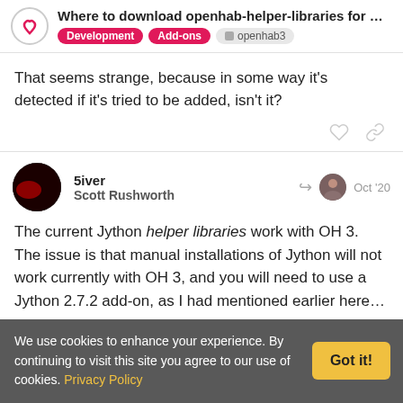Where to download openhab-helper-libraries for ... Development Add-ons openhab3
That seems strange, because in some way it's detected if it's tried to be added, isn't it?
5iver Scott Rushworth Oct '20
The current Jython helper libraries work with OH 3. The issue is that manual installations of Jython will not work currently with OH 3, and you will need to use a Jython 2.7.2 add-on, as I had mentioned earlier here…
We use cookies to enhance your experience. By continuing to visit this site you agree to our use of cookies. Privacy Policy Got it!